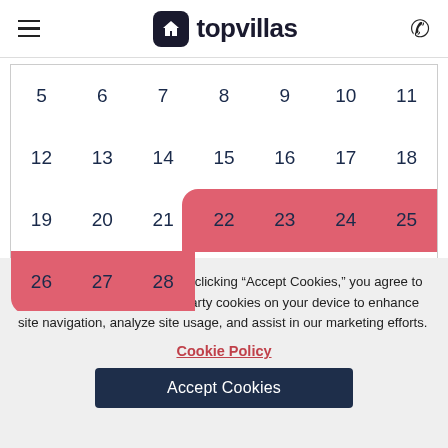topvillas
[Figure (other): Calendar grid showing dates 5-28 with a red/pink highlight spanning dates 20-25 on one row and 26-28 on the next row, indicating a booking period.]
By continuing to browse or by clicking “Accept Cookies,” you agree to the storing of first- and third-party cookies on your device to enhance site navigation, analyze site usage, and assist in our marketing efforts.
Cookie Policy
Accept Cookies